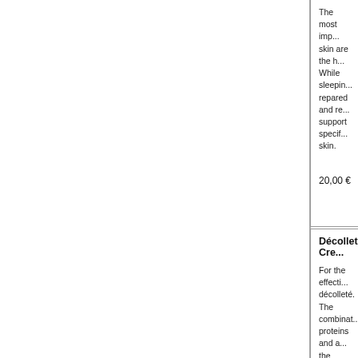The most imp... skin are the h... While sleepin... repared and re... support specif... skin.
20,00 €
Décolleté Cre...
For the effecti... décolleté. The combinat... proteins and a... the tender ski... keeps it pliabl... The skin feels...
18,00 €
Eye Contour...
exquisit Eye C... round the cloc... toilette to inst... around the eye... care to ensure... morning. Active Agents...
18,00 €
Hyaluron En...